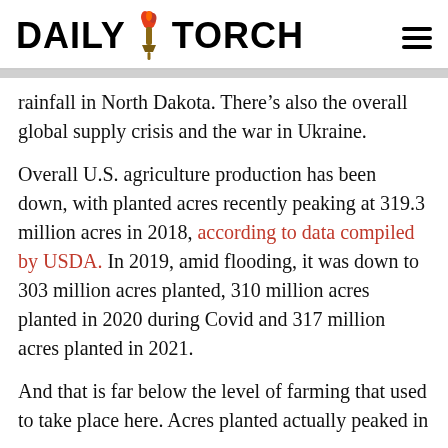DAILY TORCH
rainfall in North Dakota. There’s also the overall global supply crisis and the war in Ukraine.
Overall U.S. agriculture production has been down, with planted acres recently peaking at 319.3 million acres in 2018, according to data compiled by USDA. In 2019, amid flooding, it was down to 303 million acres planted, 310 million acres planted in 2020 during Covid and 317 million acres planted in 2021.
And that is far below the level of farming that used to take place here. Acres planted actually peaked in